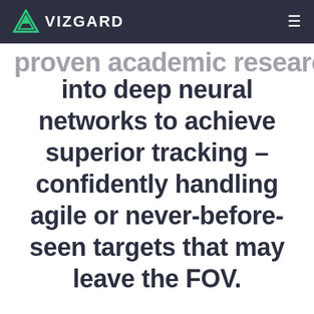VIZGARD
into deep neural networks to achieve superior tracking – confidently handling agile or never-before-seen targets that may leave the FOV.